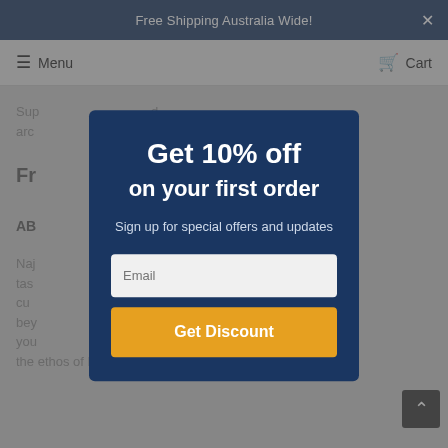Free Shipping Australia Wide!
Menu   Cart
Sup... d arc...
Fr... ns
AB...
Naj... f tas... cu... ng bey... g in you... s the ethos of Najaf Rugs.
Get 10% off on your first order
Sign up for special offers and updates
Email
Get Discount